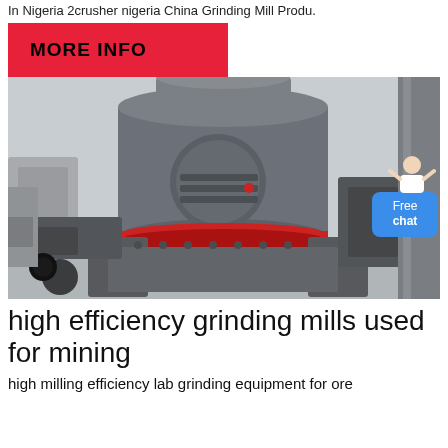In Nigeria 2crusher nigeria China Grinding Mill Produ.
MORE INFO
[Figure (photo): Close-up photograph of a large industrial grinding mill machine, grey in color with red ring detail, shown in a factory setting. A free chat bubble with an avatar appears on the right side.]
high efficiency grinding mills used for mining
high milling efficiency lab grinding equipment for ore